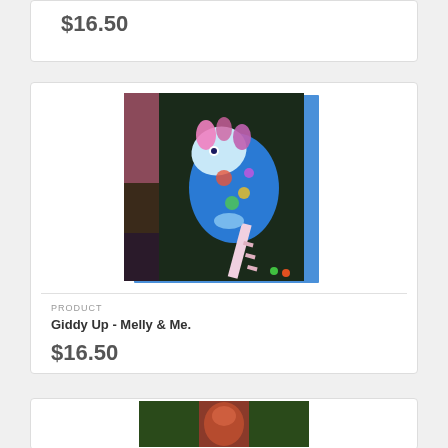$16.50
[Figure (photo): Colorful hobby horse / stick horse toy made from patterned fabric, photographed against a dark background. The horse head is made of vibrant multi-colored fabric with a blue body and pink mane details.]
PRODUCT
Giddy Up - Melly & Me.
$16.50
[Figure (photo): Partial view of another product image at the bottom of the page.]